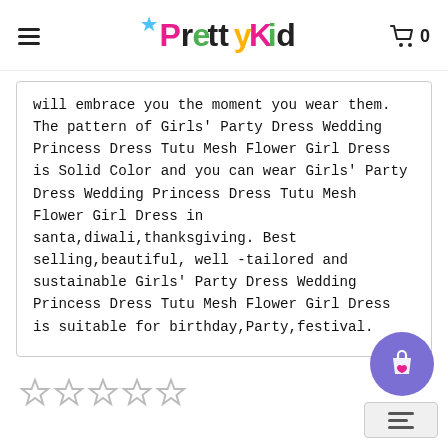PrettyKid — Cart 0
will embrace you the moment you wear them. The pattern of Girls' Party Dress Wedding Princess Dress Tutu Mesh Flower Girl Dress is Solid Color and you can wear Girls' Party Dress Wedding Princess Dress Tutu Mesh Flower Girl Dress in santa,diwali,thanksgiving. Best selling,beautiful, well -tailored and sustainable Girls' Party Dress Wedding Princess Dress Tutu Mesh Flower Girl Dress is suitable for birthday,Party,festival.
[Figure (other): 5-star empty rating row]
[Figure (other): Floating shopping bag / wishlist button (purple circle with bag icon)]